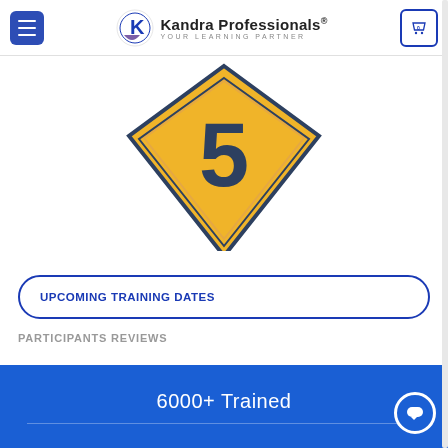Kandra Professionals® YOUR LEARNING PARTNER
[Figure (illustration): Diamond/shield badge with the number 5 in the center, gold/yellow fill with dark navy border, partially visible at top]
UPCOMING TRAINING DATES
PARTICIPANTS REVIEWS
6000+ Trained